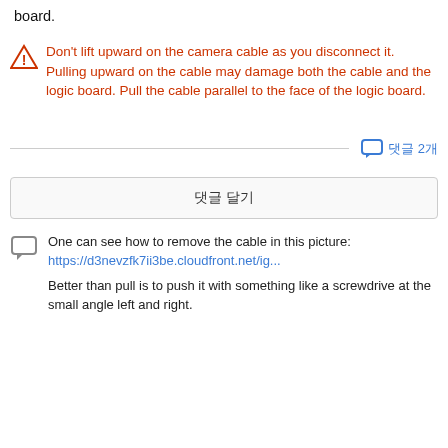board.
Don't lift upward on the camera cable as you disconnect it. Pulling upward on the cable may damage both the cable and the logic board. Pull the cable parallel to the face of the logic board.
댓글 2개
댓글 달기
One can see how to remove the cable in this picture: https://d3nevzfk7ii3be.cloudfront.net/ig...
Better than pull is to push it with something like a screwdrive at the small angle left and right.